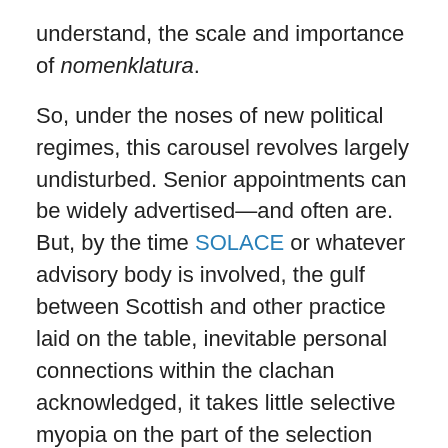understand, the scale and importance of nomenklatura.
So, under the noses of new political regimes, this carousel revolves largely undisturbed. Senior appointments can be widely advertised—and often are. But, by the time SOLACE or whatever advisory body is involved, the gulf between Scottish and other practice laid on the table, inevitable personal connections within the clachan acknowledged, it takes little selective myopia on the part of the selection panel to come to the 'right' choice. Over 90% of Council Chief Executives were appointed from within Scottish local government. Can the English/Welsh/Irish really be that unlucky/incompetent?
To pick on Andrew Gouldie's appointment is unfair. The entire Senior Management Team of Scottish Enterprise was selected from internal appointments: yet no